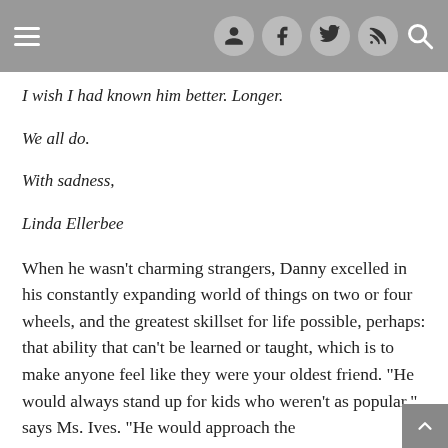Navigation bar with hamburger menu, user, facebook, twitter, rss, and search icons
I wish I had known him better. Longer.
We all do.
With sadness,
Linda Ellerbee
When he wasn't charming strangers, Danny excelled in his constantly expanding world of things on two or four wheels, and the greatest skillset for life possible, perhaps: that ability that can't be learned or taught, which is to make anyone feel like they were your oldest friend. “He would always stand up for kids who weren't as popular,” says Ms. Ives. “He would approach the